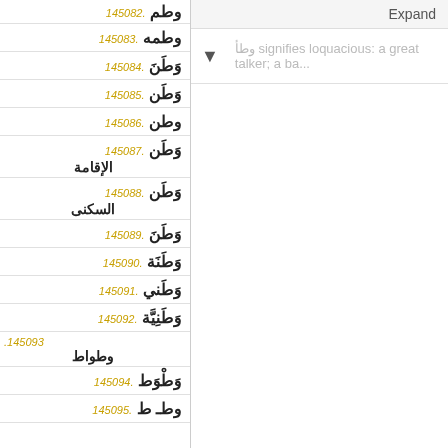145082. وطم
145083. وطمه
145084. وَطَنَ
145085. وَطَن
145086. وطن
145087. وَطَن الإقامة
145088. وَطَن السكنى
145089. وَطَنَ
145090. وَطَنَة
145091. وَطَني
145092. وَطَنِيَّة
145093. وطواط
145094. وَطْوَط
145095. وطـ ط
Expand
وطأ signifies loquacious: a great talker; a ba...